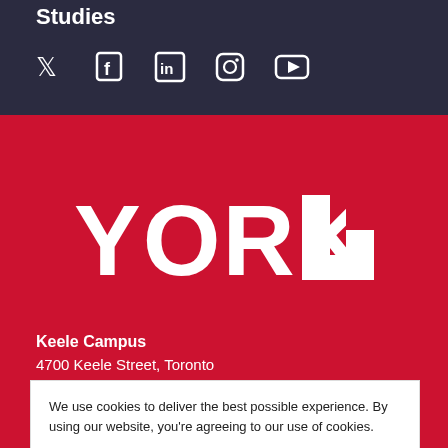Studies
[Figure (infographic): Social media icons: Twitter, Facebook, LinkedIn, Instagram, YouTube in white on dark navy background]
[Figure (logo): York U logo — YORK U in white lettering on red background]
Keele Campus
4700 Keele Street, Toronto
ON Canada
M3J 1P3
(416) 736-2100
We use cookies to deliver the best possible experience. By using our website, you're agreeing to our use of cookies.
More information >
Accept